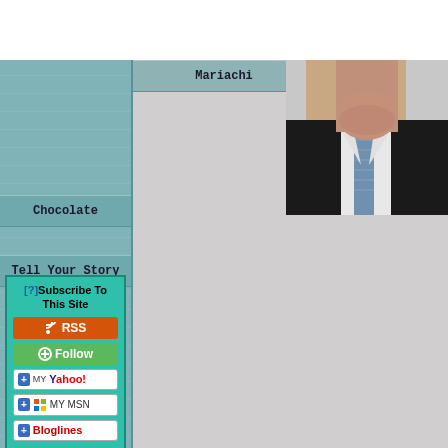Mariachi
Chocolate
Tell Your Story
[?]Subscribe To This Site
RSS
Follow
+ MY YAHOO!
+ MY MSN
+ Bloglines
[Figure (photo): Close-up photo of a man in a dark suit with a white shirt and patterned blue tie, cropped to show neck/chest area]